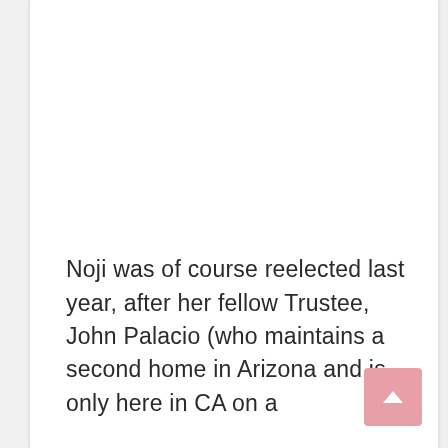Noji was of course reelected last year, after her fellow Trustee, John Palacio (who maintains a second home in Arizona and is only here in CA on a